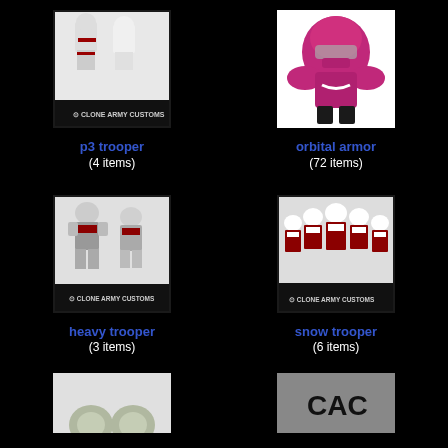[Figure (photo): Two white Clone Army Customs LEGO-style minifigures (p3 trooper) on a black display stand with Clone Army Customs logo]
p3 trooper
(4 items)
[Figure (photo): A pink/magenta orbital armor LEGO-style minifigure torso/helmet piece against white background]
orbital armor
(72 items)
[Figure (photo): Two Clone Army Customs heavy trooper minifigures with red and silver armor on black Clone Army Customs display stand]
heavy trooper
(3 items)
[Figure (photo): Five Clone Army Customs snow trooper minifigures with red and white armor on black Clone Army Customs display stand]
snow trooper
(6 items)
[Figure (photo): Two small green/gray round minifigure helmets or accessories partially visible at bottom]
[Figure (photo): Dark gray surface with CAC text logo partially visible at bottom right]